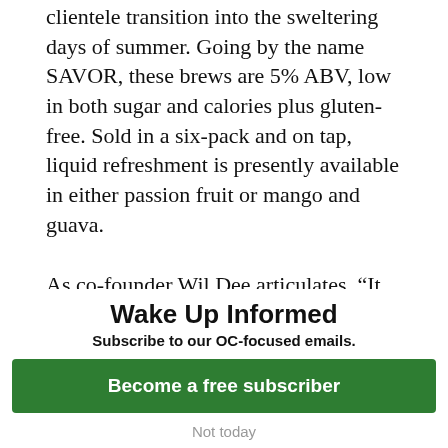clientele transition into the sweltering days of summer. Going by the name SAVOR, these brews are 5% ABV, low in both sugar and calories plus gluten-free. Sold in a six-pack and on tap, liquid refreshment is presently available in either passion fruit or mango and guava.
As co-founder Wil Dee articulates, “It speaks to the current times, as we see people leave their homes and spend more time outside with family and friends.” I
Wake Up Informed
Subscribe to our OC-focused emails.
Become a free subscriber
Not today